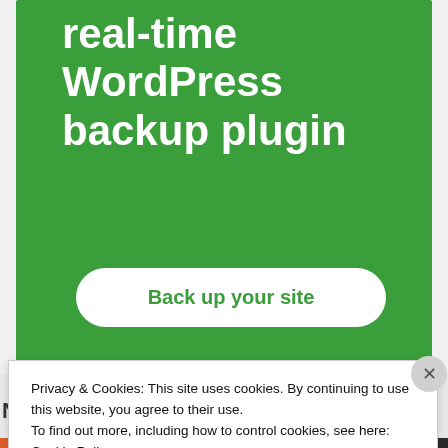[Figure (screenshot): Green advertisement banner for a real-time WordPress backup plugin with white bold text and a white rounded button saying 'Back up your site']
REPORT THIS AD
INSTAGRAM
No
Privacy & Cookies: This site uses cookies. By continuing to use this website, you agree to their use.
To find out more, including how to control cookies, see here: Cookie Policy
Close and accept